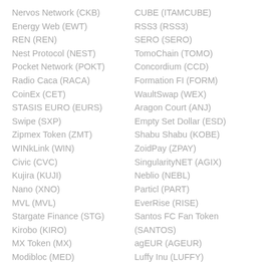Nervos Network (CKB)
CUBE (ITAMCUBE)
Energy Web (EWT)
RSS3 (RSS3)
REN (REN)
SERO (SERO)
Nest Protocol (NEST)
TomoChain (TOMO)
Pocket Network (POKT)
Concordium (CCD)
Radio Caca (RACA)
Formation FI (FORM)
CoinEx (CET)
WaultSwap (WEX)
STASIS EURO (EURS)
Aragon Court (ANJ)
Swipe (SXP)
Empty Set Dollar (ESD)
Zipmex Token (ZMT)
Shabu Shabu (KOBE)
WINkLink (WIN)
ZoidPay (ZPAY)
Civic (CVC)
SingularityNET (AGIX)
Kujira (KUJI)
Neblio (NEBL)
Nano (XNO)
Particl (PART)
MVL (MVL)
EverRise (RISE)
Stargate Finance (STG)
Santos FC Fan Token (SANTOS)
Kirobo (KIRO)
agEUR (AGEUR)
MX Token (MX)
Luffy Inu (LUFFY)
Modibloc (MED)